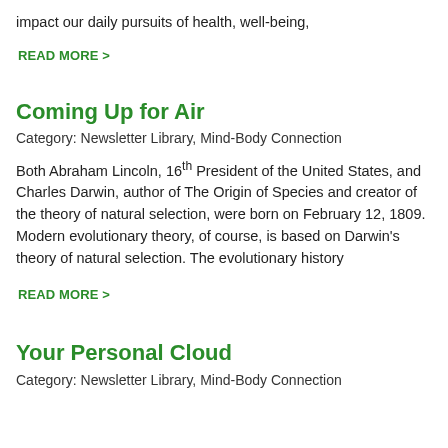impact our daily pursuits of health, well-being,
READ MORE >
Coming Up for Air
Category: Newsletter Library, Mind-Body Connection
Both Abraham Lincoln, 16th President of the United States, and Charles Darwin, author of The Origin of Species and creator of the theory of natural selection, were born on February 12, 1809. Modern evolutionary theory, of course, is based on Darwin’s theory of natural selection. The evolutionary history
READ MORE >
Your Personal Cloud
Category: Newsletter Library, Mind-Body Connection